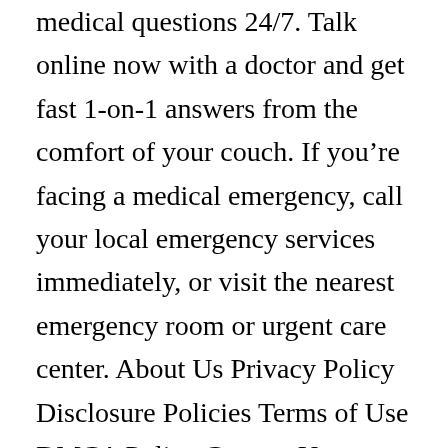medical questions 24/7. Talk online now with a doctor and get fast 1-on-1 answers from the comfort of your couch. If you're facing a medical emergency, call your local emergency services immediately, or visit the nearest emergency room or urgent care center. About Us Privacy Policy Disclosure Policies Terms of Use DMCA Policy Contact Us Contributors Sponsors Policy Advertise With Us Editorial Policy, sarms-22 lgd-4033. Note: Results may vary about any product